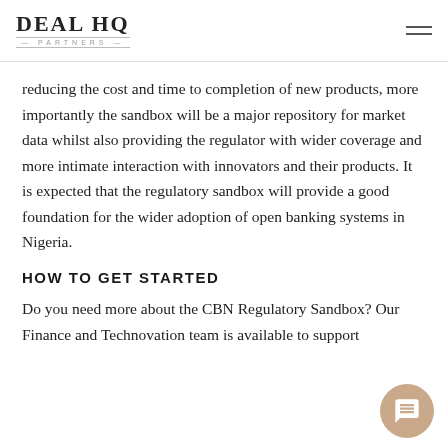DEAL HQ PARTNERS
reducing the cost and time to completion of new products, more importantly the sandbox will be a major repository for market data whilst also providing the regulator with wider coverage and more intimate interaction with innovators and their products. It is expected that the regulatory sandbox will provide a good foundation for the wider adoption of open banking systems in Nigeria.
HOW TO GET STARTED
Do you need more about the CBN Regulatory Sandbox? Our Finance and Technovation team is available to support